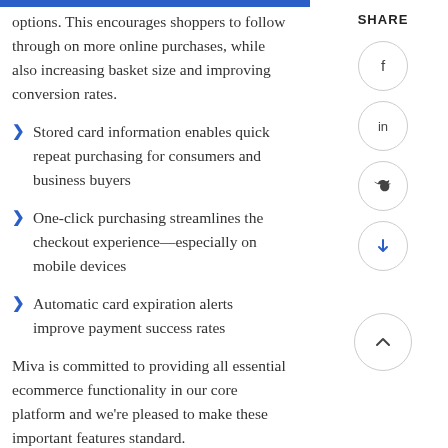options. This encourages shoppers to follow through on more online purchases, while also increasing basket size and improving conversion rates.
Stored card information enables quick repeat purchasing for consumers and business buyers
One-click purchasing streamlines the checkout experience—especially on mobile devices
Automatic card expiration alerts improve payment success rates
Miva is committed to providing all essential ecommerce functionality in our core platform and we're pleased to make these important features standard.
SHARE